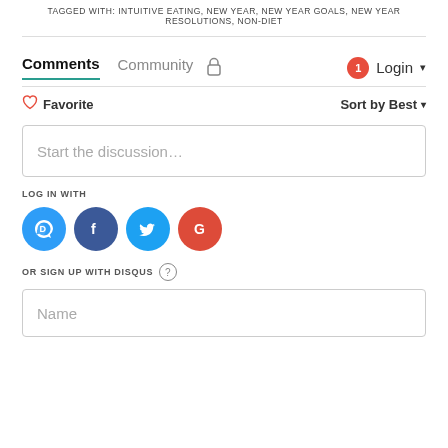TAGGED WITH: INTUITIVE EATING, NEW YEAR, NEW YEAR GOALS, NEW YEAR RESOLUTIONS, NON-DIET
Comments  Community  🔒  1  Login ▾
♡ Favorite   Sort by Best ▾
Start the discussion…
LOG IN WITH
[Figure (other): Social login icons: Disqus (D blue), Facebook (f dark blue), Twitter (bird light blue), Google (G red)]
OR SIGN UP WITH DISQUS ?
Name